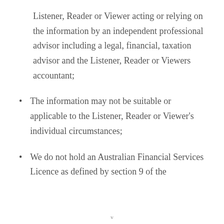Listener, Reader or Viewer acting or relying on the information by an independent professional advisor including a legal, financial, taxation advisor and the Listener, Reader or Viewers accountant;
The information may not be suitable or applicable to the Listener, Reader or Viewer's individual circumstances;
We do not hold an Australian Financial Services Licence as defined by section 9 of the
v